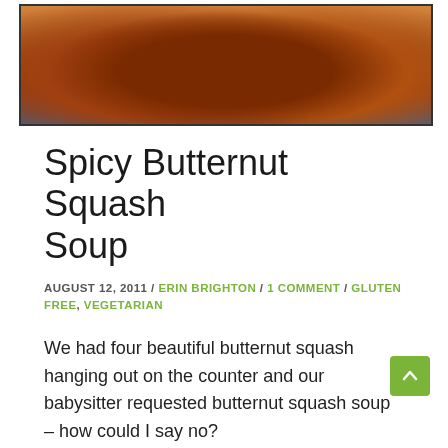[Figure (photo): Close-up photo of roasted butternut squash halves with caramelized surface, dark spots, on a baking dish. Blue background visible at bottom.]
Spicy Butternut Squash Soup
AUGUST 12, 2011 / ERIN BRIGHTON / 1 COMMENT / GLUTEN FREE, VEGETARIAN
We had four beautiful butternut squash hanging out on the counter and our babysitter requested butternut squash soup – how could I say no?
I was able to start this soup early in the day while the